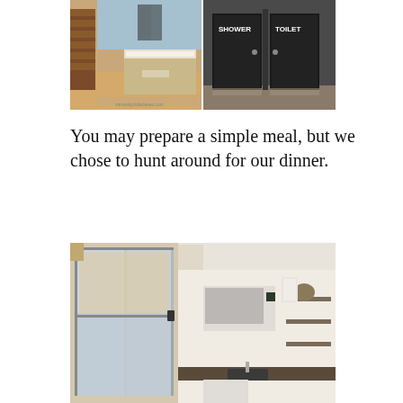[Figure (photo): Two side-by-side photos: left shows a narrow room interior with wooden stairs and a bed; right shows dark doors labeled SHOWER and TOILET]
You may prepare a simple meal, but we chose to hunt around for our dinner.
[Figure (photo): Photo of a small kitchen area with sliding glass door/window, microwave, sink, shelves, and appliances]